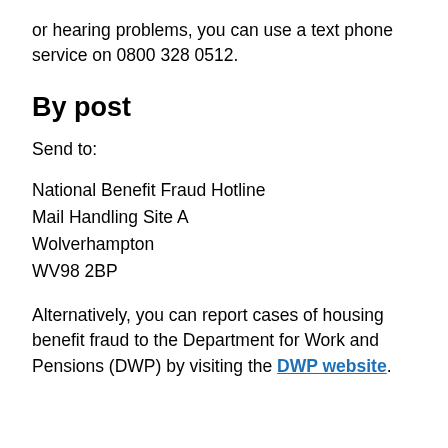or hearing problems, you can use a text phone service on 0800 328 0512.
By post
Send to:
National Benefit Fraud Hotline
Mail Handling Site A
Wolverhampton
WV98 2BP
Alternatively, you can report cases of housing benefit fraud to the Department for Work and Pensions (DWP) by visiting the DWP website.